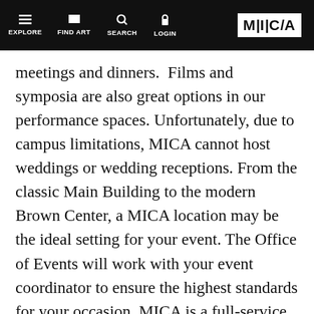EXPLORE  FIND ART  SEARCH  LOGIN  MICA
meetings and dinners.  Films and symposia are also great options in our performance spaces. Unfortunately, due to campus limitations, MICA cannot host weddings or wedding receptions. From the classic Main Building to the modern Brown Center, a MICA location may be the ideal setting for your event. The Office of Events will work with your event coordinator to ensure the highest standards for your occasion. MICA is a full-service venue, with in-house catering. Event spaces are described below. If you would like